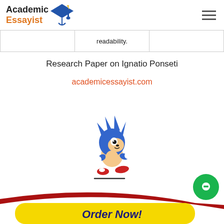[Figure (logo): Academic Essayist logo with graduation cap icon]
|  | readability. |  |
| --- | --- | --- |
|  |
Research Paper on Ignatio Ponseti
academicessayist.com
[Figure (illustration): Sonic the Hedgehog running character illustration with shadow line beneath]
[Figure (other): Order Now button with yellow rounded rectangle and red swoosh, green chat bubble icon]